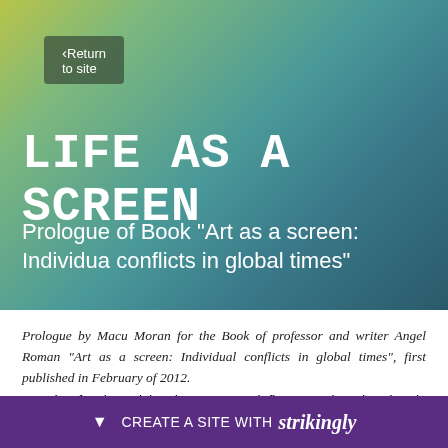[Figure (screenshot): Website hero banner with colorful blurred gradient background (yellow-green to teal)]
Return to site
LIFE AS A SCREEN
Prologue of Book “Art as a screen: Individua conflicts in global times”
Prologue by Macu Moran for the Book of professor and writer Angel Roman “Art as a screen: Individual conflicts in global times”, first published in February of 2012.
Román, fascinated by the constant influences that the drastic technologic advancements constantly produce in the behavior of h… e of inform… ong a myria… stant
[Figure (screenshot): Strikingly website builder promotional bar at the bottom: CREATE A SITE WITH strikingly]